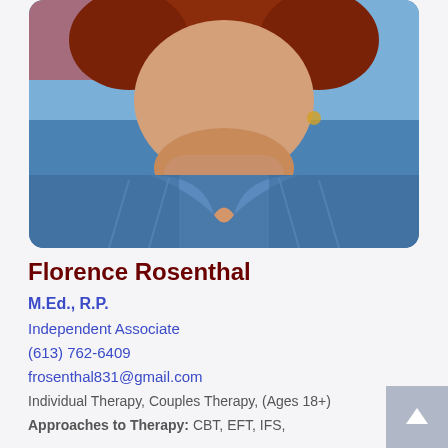[Figure (photo): Portrait photo of Florence Rosenthal, a woman with reddish-brown hair wearing a denim shirt, cropped to show neck and chest area. Photo has rounded corners.]
Florence Rosenthal
M.Ed., R.P.
Independent Associate
(613) 762-6409
frosenthal831@gmail.com
Individual Therapy, Couples Therapy, (Ages 18+)
Approaches to Therapy: CBT, EFT, IFS,